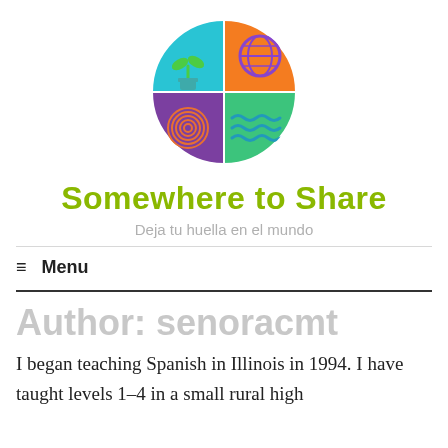[Figure (logo): Circular logo divided into four quadrants: top-left is cyan/blue with a green plant icon, top-right is orange with a purple globe icon, bottom-left is purple with an orange fingerprint icon, bottom-right is green with teal wave lines icon.]
Somewhere to Share
Deja tu huella en el mundo
≡  Menu
Author: senoracmt
I began teaching Spanish in Illinois in 1994. I have taught levels 1-4 in a small rural high